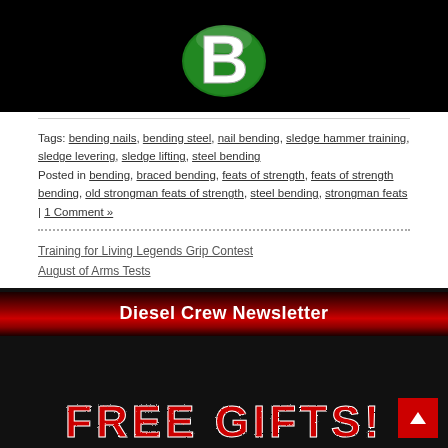[Figure (logo): Diesel Crew logo — white stylized B letter on green circle with dark outline, on black background]
Tags: bending nails, bending steel, nail bending, sledge hammer training, sledge levering, sledge lifting, steel bending Posted in bending, braced bending, feats of strength, feats of strength bending, old strongman feats of strength, steel bending, strongman feats | 1 Comment »
Training for Living Legends Grip Contest
August of Arms Tests
Diesel Crew Newsletter
[Figure (illustration): FREE GIFTS text in red distressed grunge style lettering on dark background]